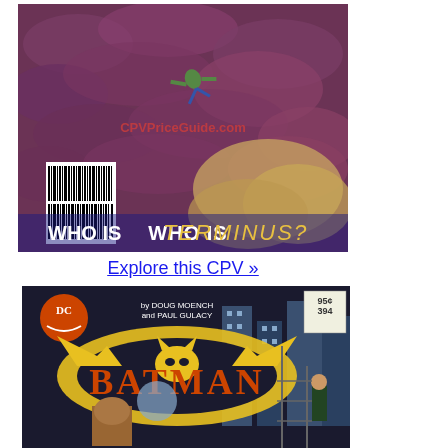[Figure (illustration): Comic book cover showing a figure falling/flying against a dramatic purple-pink swirling cloud background with text 'WHO IS TERMINUS?' and a barcode on the left side. CPVPriceGuide.com watermark overlaid.]
Explore this CPV »
[Figure (illustration): Batman comic book cover #394, priced 95 cents, by Doug Moench and Paul Gulacy. Features the Batman logo in yellow, large orange 'BATMAN' title text, DC Comics logo. Scene shows a villain with a dog/animal and a figure on a fire escape.]